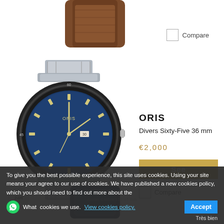[Figure (photo): Partial view of a watch with brown leather strap, cropped at top of page]
Compare
[Figure (photo): Oris Divers Sixty-Five 36mm watch with blue dial and silver stainless steel bracelet]
ORIS
Divers Sixty-Five 36 mm
€2,000
See
Compare
[Figure (photo): Partial view of a watch with dark blue/navy strap, cropped at bottom of page]
24H
ORIS
Atelier Calibre 111 43 mm
To give you the best possible experience, this site uses cookies. Using your site means your agree to our use of cookies. We have published a new cookies policy, which you should need to find out more about the cookies we use. View cookies policy.
What
Accept
Très bien